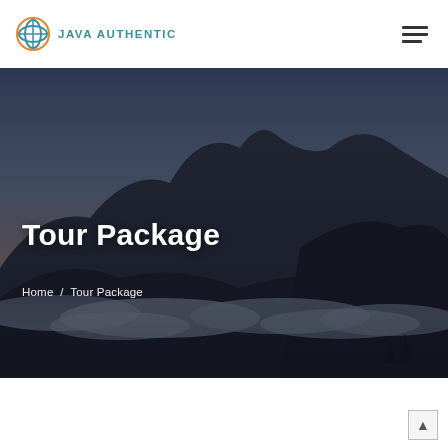JAVA AUTHENTIC
[Figure (photo): Mountain landscape at dusk with silhouetted peaks, clouds below forming a sea of clouds, dark atmospheric sky gradient from orange-pink near horizon to deep blue-grey above]
Tour Package
Home / Tour Package